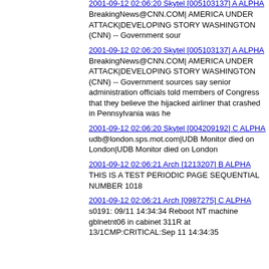2001-09-12 02:06:20 Skytel [005103137] A ALPHA
BreakingNews@CNN.COM| AMERICA UNDER ATTACK|DEVELOPING STORY WASHINGTON (CNN) -- Government sour
2001-09-12 02:06:20 Skytel [005103137] A ALPHA
BreakingNews@CNN.COM| AMERICA UNDER ATTACK|DEVELOPING STORY WASHINGTON (CNN) -- Government sources say senior administration officials told members of Congress that they believe the hijacked airliner that crashed in Pennsylvania was he
2001-09-12 02:06:20 Skytel [004209192] C ALPHA
udb@london.sps.mot.com|UDB Monitor died on London|UDB Monitor died on London
2001-09-12 02:06:21 Arch [1213207] B ALPHA
THIS IS A TEST PERIODIC PAGE SEQUENTIAL NUMBER 1018
2001-09-12 02:06:21 Arch [0987275] C ALPHA
s0191: 09/11 14:34:34 Reboot NT machine gblnetnt06 in cabinet 311R at 13/1CMP:CRITICAL:Sep 11 14:34:35